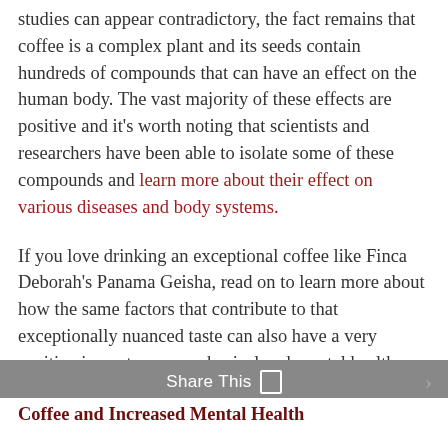studies can appear contradictory, the fact remains that coffee is a complex plant and its seeds contain hundreds of compounds that can have an effect on the human body. The vast majority of these effects are positive and it's worth noting that scientists and researchers have been able to isolate some of these compounds and learn more about their effect on various diseases and body systems.

If you love drinking an exceptional coffee like Finca Deborah's Panama Geisha, read on to learn more about how the same factors that contribute to that exceptionally nuanced taste can also have a very positive impact on your physical and mental health.
Share This
Coffee and Increased Mental Health